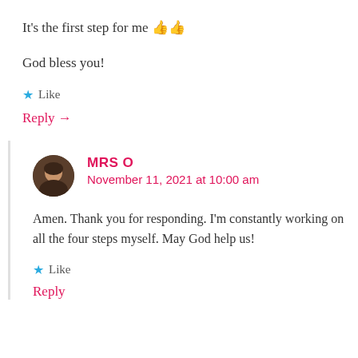It's the first step for me 👍👍
God bless you!
★ Like
Reply →
MRS O
November 11, 2021 at 10:00 am
Amen. Thank you for responding. I'm constantly working on all the four steps myself. May God help us!
★ Like
Reply